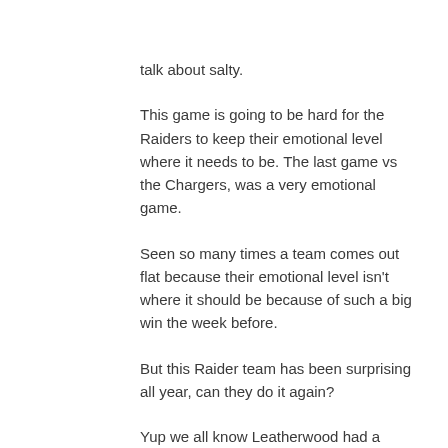talk about salty.
This game is going to be hard for the Raiders to keep their emotional level where it needs to be. The last game vs the Chargers, was a very emotional game.
Seen so many times a team comes out flat because their emotional level isn't where it should be because of such a big win the week before.
But this Raider team has been surprising all year, can they do it again?
Yup we all know Leatherwood had a rough year. We all know about the high picks that didn't turn out, but guess what, they made the playoffs, is there something to be said about that?